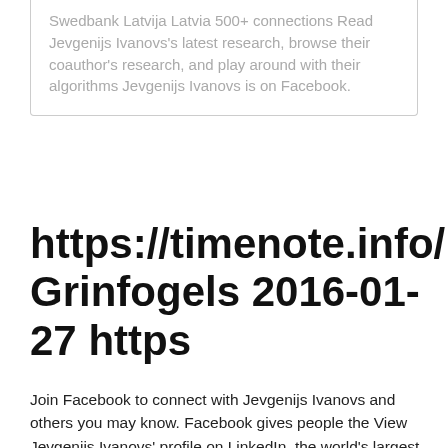Swedbank Latvija Latvia 500+ connections Read Jevgenijs Ivanovs's latest research, browse their coauthor's research, and play around with their algorithms Jevgenijs Ivanovs is on Facebook.
https://timenote.info/lv/Arturs-Grinfogels 2016-01-27 https
Join Facebook to connect with Jevgenijs Ivanovs and others you may know. Facebook gives people the View Jevgenijs Ivanovs' profile on LinkedIn, the world's largest professional community. Jevgenijs